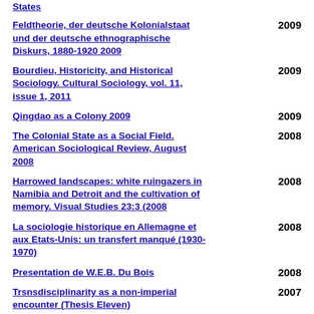States | 2009 (truncated top entry)
Feldtheorie, der deutsche Kolonialstaat und der deutsche ethnographische Diskurs, 1880-1920 2009 | 2009
Bourdieu, Historicity, and Historical Sociology. Cultural Sociology, vol. 11, issue 1, 2011 | 2009
Qingdao as a Colony 2009 | 2009
The Colonial State as a Social Field. American Sociological Review, August 2008 | 2008
Harrowed landscapes: white ruingazers in Namibia and Detroit and the cultivation of memory. Visual Studies 23:3 (2008 | 2008
La sociologie historique en Allemagne et aux Etats-Unis: un transfert manqué (1930-1970) | 2008
Presentation de W.E.B. Du Bois | 2008
Trsnsdisciplinarity as a non-imperial encounter (Thesis Eleven) | 2007